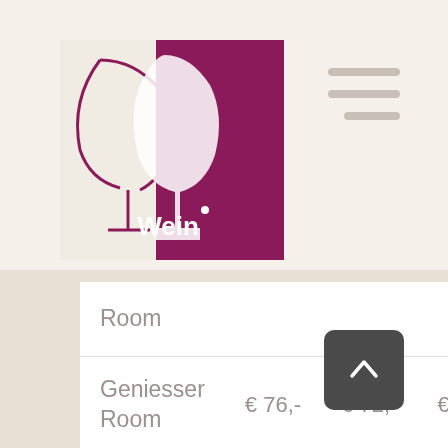[Figure (logo): Wein-Quadrat logo with wine glass silhouette on white/purple background with text 'Wein-Quadrat']
| Room |  |  |  |
| Geniesser Room | € 76,- | € 72,- | € 69,- |